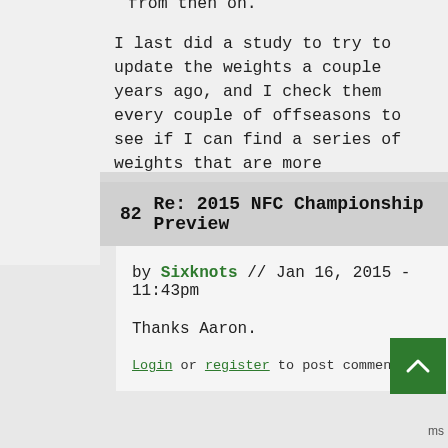from then on.
I last did a study to try to update the weights a couple years ago, and I check them every couple of offseasons to see if I can find a series of weights that are more predictive.
Login or register to post comments
82  Re: 2015 NFC Championship Preview
by Sixknots // Jan 16, 2015 - 11:43pm
Thanks Aaron.
Login or register to post comments